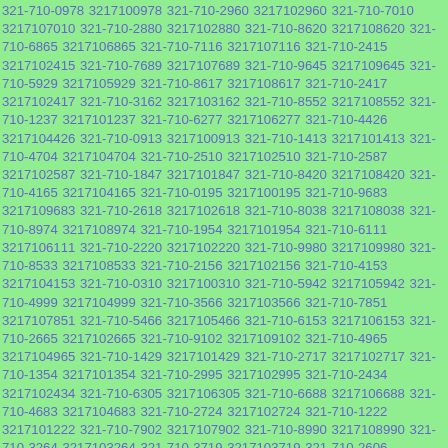321-710-0978 3217100978 321-710-2960 3217102960 321-710-7010 3217107010 321-710-2880 3217102880 321-710-8620 3217108620 321-710-6865 3217106865 321-710-7116 3217107116 321-710-2415 3217102415 321-710-7689 3217107689 321-710-9645 3217109645 321-710-5929 3217105929 321-710-8617 3217108617 321-710-2417 3217102417 321-710-3162 3217103162 321-710-8552 3217108552 321-710-1237 3217101237 321-710-6277 3217106277 321-710-4426 3217104426 321-710-0913 3217100913 321-710-1413 3217101413 321-710-4704 3217104704 321-710-2510 3217102510 321-710-2587 3217102587 321-710-1847 3217101847 321-710-8420 3217108420 321-710-4165 3217104165 321-710-0195 3217100195 321-710-9683 3217109683 321-710-2618 3217102618 321-710-8038 3217108038 321-710-8974 3217108974 321-710-1954 3217101954 321-710-6111 3217106111 321-710-2220 3217102220 321-710-9980 3217109980 321-710-8533 3217108533 321-710-2156 3217102156 321-710-4153 3217104153 321-710-0310 3217100310 321-710-5942 3217105942 321-710-4999 3217104999 321-710-3566 3217103566 321-710-7851 3217107851 321-710-5466 3217105466 321-710-6153 3217106153 321-710-2665 3217102665 321-710-9102 3217109102 321-710-4965 3217104965 321-710-1429 3217101429 321-710-2717 3217102717 321-710-1354 3217101354 321-710-2995 3217102995 321-710-2434 3217102434 321-710-6305 3217106305 321-710-6688 3217106688 321-710-4683 3217104683 321-710-2724 3217102724 321-710-1222 3217101222 321-710-7902 3217107902 321-710-8990 3217108990 321-710-3264 3217103264 321-710-3719 3217103719 321-710-2606